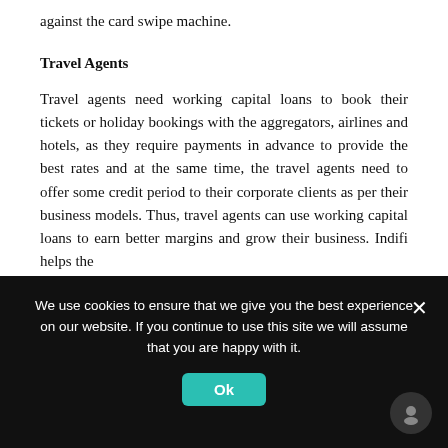against the card swipe machine.
Travel Agents
Travel agents need working capital loans to book their tickets or holiday bookings with the aggregators, airlines and hotels, as they require payments in advance to provide the best rates and at the same time, the travel agents need to offer some credit period to their corporate clients as per their business models. Thus, travel agents can use working capital loans to earn better margins and grow their business. Indifi helps the
We use cookies to ensure that we give you the best experience on our website. If you continue to use this site we will assume that you are happy with it.